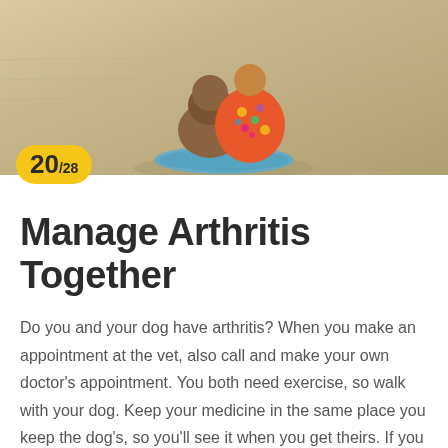[Figure (photo): A person and dog sitting together on a sandy beach, viewed from behind. The person is wearing a colorful floral top and the dog appears to be a medium-sized brown dog. There is a blue towel visible.]
20/28
Manage Arthritis Together
Do you and your dog have arthritis? When you make an appointment at the vet, also call and make your own doctor's appointment. You both need exercise, so walk with your dog. Keep your medicine in the same place you keep the dog's, so you'll see it when you get theirs. If you can, coordinate taking your medicines at the same time